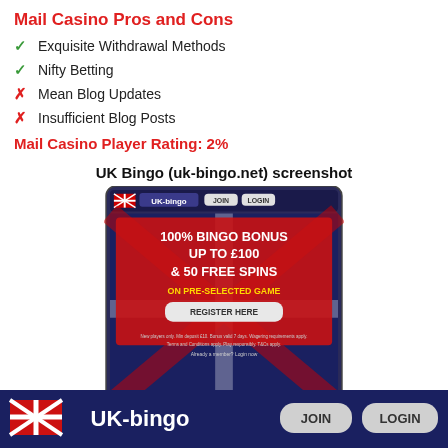Mail Casino Pros and Cons
✓  Exquisite Withdrawal Methods
✓  Nifty Betting
✗  Mean Blog Updates
✗  Insufficient Blog Posts
Mail Casino Player Rating: 2%
UK Bingo (uk-bingo.net) screenshot
[Figure (screenshot): Screenshot of UK Bingo (uk-bingo.net) website showing a promotional banner: 100% BINGO BONUS UP TO £100 & 50 FREE SPINS ON PRE-SELECTED GAME with REGISTER HERE button, and below two tiles: DAILY BONUS OFFERS and DAILY FREE BINGO GAMES each with PLAY buttons.]
[Figure (screenshot): Cropped bottom banner of UK Bingo website showing the UK Bingo logo with UK flag, JOIN and LOGIN buttons on dark blue background.]